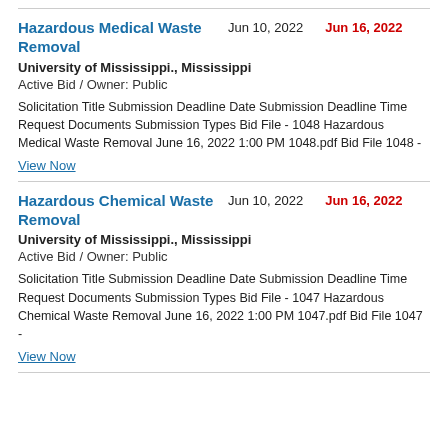Hazardous Medical Waste Removal | Jun 10, 2022 | Jun 16, 2022 | University of Mississippi., Mississippi | Active Bid / Owner: Public | Solicitation Title Submission Deadline Date Submission Deadline Time Request Documents Submission Types Bid File - 1048 Hazardous Medical Waste Removal June 16, 2022 1:00 PM 1048.pdf Bid File 1048 - | View Now
Hazardous Chemical Waste Removal | Jun 10, 2022 | Jun 16, 2022 | University of Mississippi., Mississippi | Active Bid / Owner: Public | Solicitation Title Submission Deadline Date Submission Deadline Time Request Documents Submission Types Bid File - 1047 Hazardous Chemical Waste Removal June 16, 2022 1:00 PM 1047.pdf Bid File 1047 - | View Now